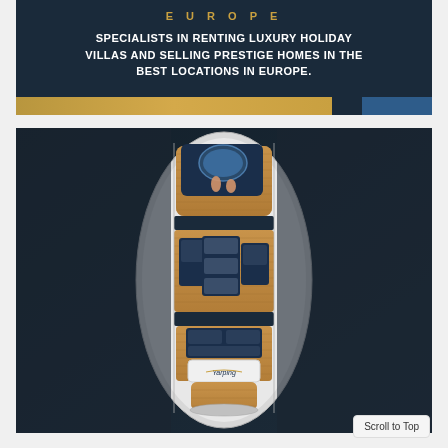[Figure (logo): Dark navy banner with 'EUROPE' in gold spaced letters, tagline text in white bold caps reading 'SPECIALISTS IN RENTING LUXURY HOLIDAY VILLAS AND SELLING PRESTIGE HOMES IN THE BEST LOCATIONS IN EUROPE.' with gold bar at bottom left and blue rectangle at bottom right.]
[Figure (photo): Aerial top-down view of a large luxury motor yacht on dark water. The yacht deck shows navy blue and teak wood surfaces with lounge furniture, seating areas, and a visible stern with a logo. The vessel is photographed from directly above.]
Scroll to Top